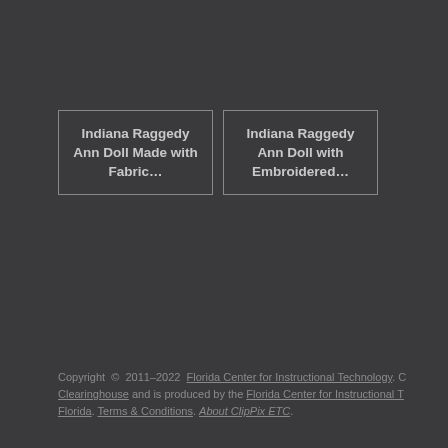Indiana Raggedy Ann Doll Made with Fabric…
Indiana Raggedy Ann Doll with Embroidered…
Copyright © 2011–2022 Florida Center for Instructional Technology. Clipart ETC is a part of the Educational Technology Clearinghouse and is produced by the Florida Center for Instructional Technology, College of Education, University of South Florida. Terms & Conditions. About ClipPix ETC.